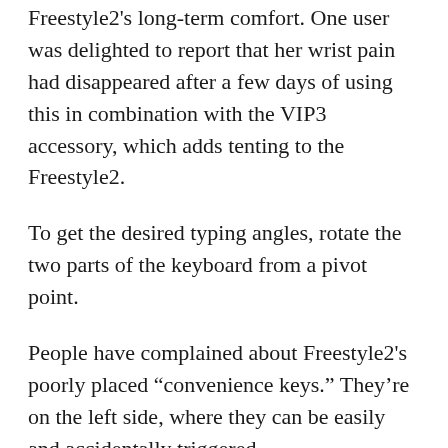Freestyle2's long-term comfort. One user was delighted to report that her wrist pain had disappeared after a few days of using this in combination with the VIP3 accessory, which adds tenting to the Freestyle2.
To get the desired typing angles, rotate the two parts of the keyboard from a pivot point.
People have complained about Freestyle2's poorly placed “convenience keys.” They’re on the left side, where they can be easily and accidentally triggered.
The Freestyle2 is one of the most ergonomic tenkeyless keyboards available, despite the odd